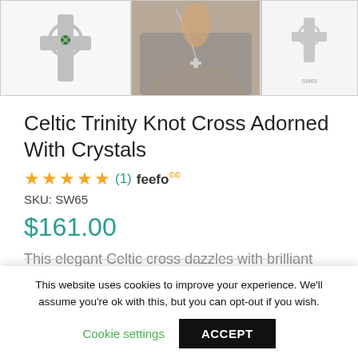[Figure (photo): Three product images in a row: 1) Celtic cross pendant silver with green gem, 2) Woman wearing the cross necklace on grey top, 3) Small thumbnail of the cross pendant]
Celtic Trinity Knot Cross Adorned With Crystals
(1) feefo
SKU: SW65
$161.00
This elegant Celtic cross dazzles with brilliant
This website uses cookies to improve your experience. We'll assume you're ok with this, but you can opt-out if you wish.
Cookie settings   ACCEPT